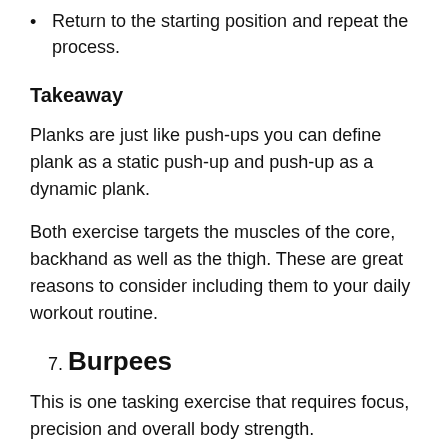Return to the starting position and repeat the process.
Takeaway
Planks are just like push-ups you can define plank as a static push-up and push-up as a dynamic plank.
Both exercise targets the muscles of the core, backhand as well as the thigh. These are great reasons to consider including them to your daily workout routine.
7. Burpees
This is one tasking exercise that requires focus, precision and overall body strength.